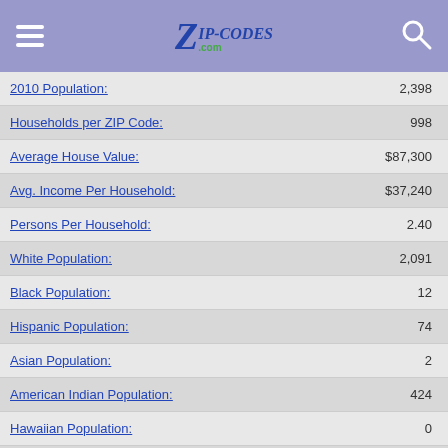Zip-Codes.com
| Label | Value |
| --- | --- |
| 2010 Population: | 2,398 |
| Households per ZIP Code: | 998 |
| Average House Value: | $87,300 |
| Avg. Income Per Household: | $37,240 |
| Persons Per Household: | 2.40 |
| White Population: | 2,091 |
| Black Population: | 12 |
| Hispanic Population: | 74 |
| Asian Population: | 2 |
| American Indian Population: | 424 |
| Hawaiian Population: | 0 |
| Other Population: | 26 |
| Male Population: | 1,211 |